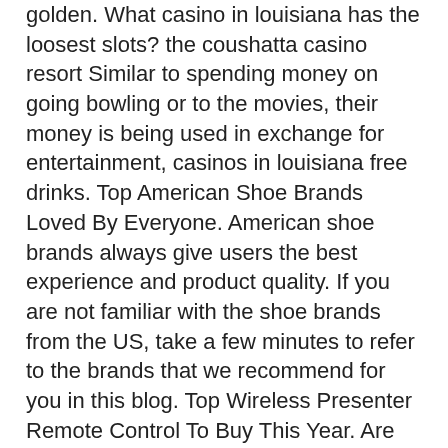golden. What casino in louisiana has the loosest slots? the coushatta casino resort Similar to spending money on going bowling or to the movies, their money is being used in exchange for entertainment, casinos in louisiana free drinks. Top American Shoe Brands Loved By Everyone. American shoe brands always give users the best experience and product quality. If you are not familiar with the shoe brands from the US, take a few minutes to refer to the brands that we recommend for you in this blog. Top Wireless Presenter Remote Control To Buy This Year. Are you looking for a suitable presentation pen at the best price, casino resorts near me. Caesars sportsbook · your drink is just a touch away · caesars rewards visa® card · smoke free · smoking &amp; gaming courtyards · the poker. Only five states are behind their gambling revenue pace at the